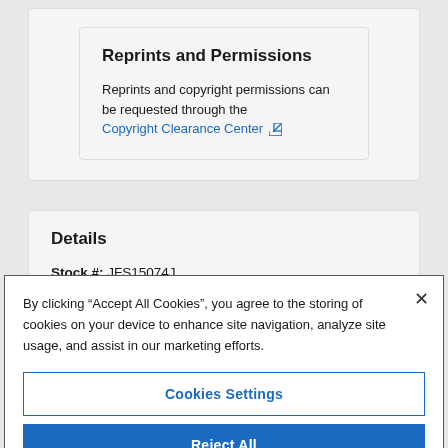Reprints and Permissions
Reprints and copyright permissions can be requested through the Copyright Clearance Center ↗
Details
Stock #: JFS15074J
ISSN: 0022-1198
By clicking "Accept All Cookies", you agree to the storing of cookies on your device to enhance site navigation, analyze site usage, and assist in our marketing efforts.
Cookies Settings
Reject All